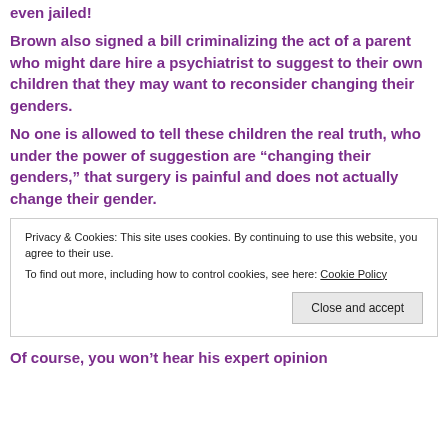even jailed!
Brown also signed a bill criminalizing the act of a parent who might dare hire a psychiatrist to suggest to their own children that they may want to reconsider changing their genders.
No one is allowed to tell these children the real truth, who under the power of suggestion are “changing their genders,” that surgery is painful and does not actually change their gender.
Privacy & Cookies: This site uses cookies. By continuing to use this website, you agree to their use.
To find out more, including how to control cookies, see here: Cookie Policy
Of course, you won’t hear his expert opinion